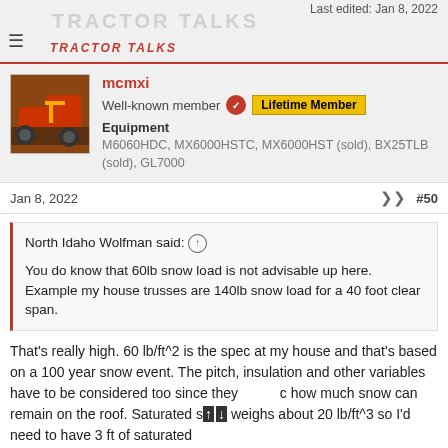Last edited: Jan 8, 2022 | TRACTOR TALKS
mcmxi
Well-known member [badge] Lifetime Member
Equipment
M6060HDC, MX6000HSTC, MX6000HST (sold), BX25TLB (sold), GL7000
Jan 8, 2022  #50
North Idaho Wolfman said: ↑

You do know that 60lb snow load is not advisable up here. Example my house trusses are 140lb snow load for a 40 foot clear span.
That's really high. 60 lb/ft^2 is the spec at my house and that's based on a 100 year snow event. The pitch, insulation and other variables have to be considered too since they affect how much snow can remain on the roof. Saturated snow weighs about 20 lb/ft^3 so I'd need to have 3 ft of saturated